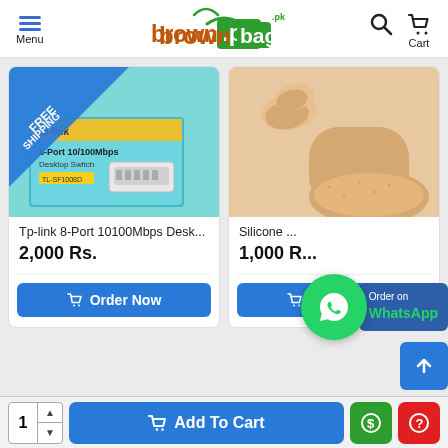brownbag.pk — Menu | Search | Cart
[Figure (screenshot): TP-Link 8-Port 10/100Mbps Desktop Switch product image with FREE SHIPPING ribbon]
Tp-link 8-Port 10100Mbps Desk...
2,000 Rs.
Order Now
[Figure (photo): Silicone foot/heel protective socks product photo]
Silicone ...
1,000 R...
Order Now
Order on WhatsApp
Add To Cart